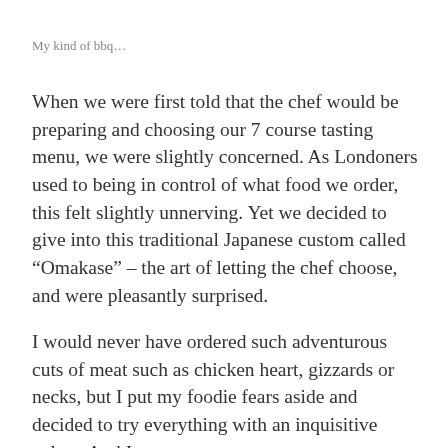My kind of bbq…
When we were first told that the chef would be preparing and choosing our 7 course tasting menu, we were slightly concerned. As Londoners used to being in control of what food we order, this felt slightly unnerving. Yet we decided to give into this traditional Japanese custom called “Omakase” – the art of letting the chef choose, and were pleasantly surprised.
I would never have ordered such adventurous cuts of meat such as chicken heart, gizzards or necks, but I put my foodie fears aside and decided to try everything with an inquisitive palate. And I was so